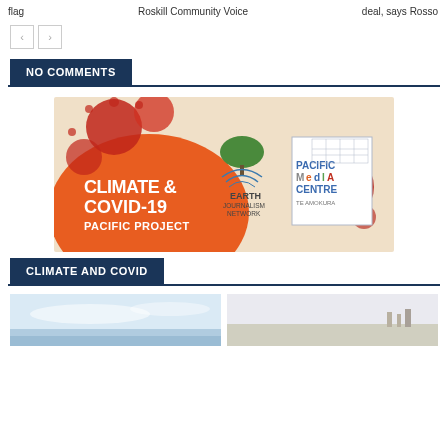flag   Roskill Community Voice   deal, says Rosso
[Figure (other): Navigation previous/next buttons]
NO COMMENTS
[Figure (infographic): Climate & Covid-19 Pacific Project banner featuring Earth Journalism Network and Pacific Media Centre logos, with coronavirus imagery]
CLIMATE AND COVID
[Figure (photo): Two small landscape/seascape thumbnail photos at the bottom of the page]